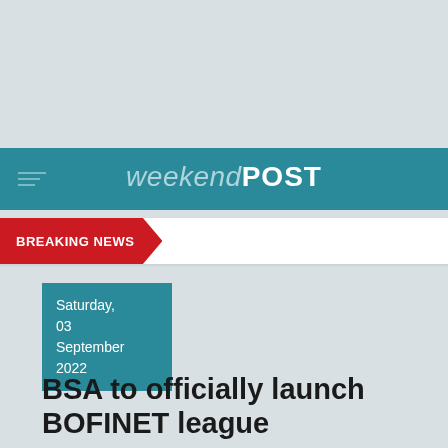weekendPOST
BREAKING NEWS
Saturday, 03 September 2022
BSA to officially launch BOFINET league